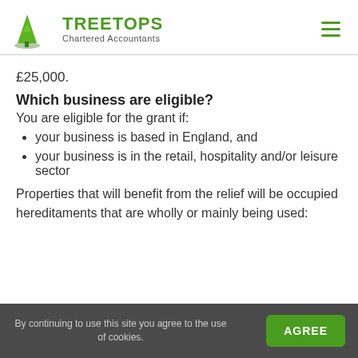Treetops Chartered Accountants
£25,000.
Which business are eligible?
You are eligible for the grant if:
your business is based in England, and
your business is in the retail, hospitality and/or leisure sector
Properties that will benefit from the relief will be occupied hereditaments that are wholly or mainly being used:
By continuing to use this site you agree to the use of cookies.